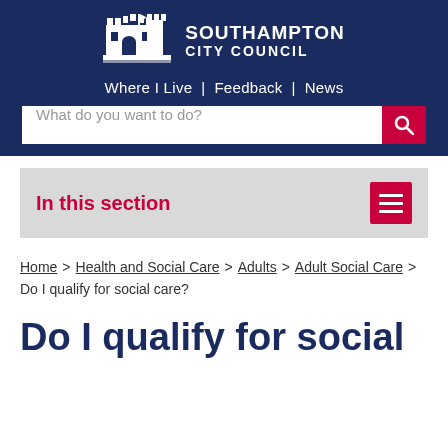[Figure (logo): Southampton City Council logo with castle graphic and text]
Where I Live | Feedback | News
What do you want to do?
In this section
Home > Health and Social Care > Adults > Adult Social Care > Do I qualify for social care?
Do I qualify for social